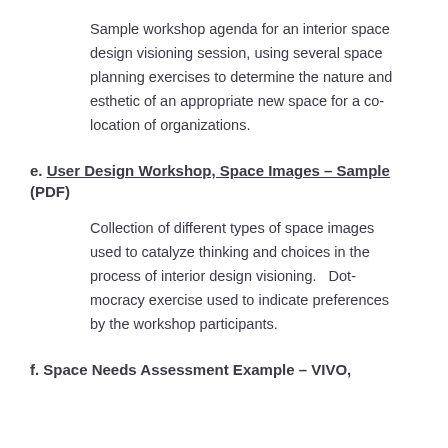Sample workshop agenda for an interior space design visioning session, using several space planning exercises to determine the nature and esthetic of an appropriate new space for a co-location of organizations.
e. User Design Workshop, Space Images – Sample (PDF)
Collection of different types of space images used to catalyze thinking and choices in the process of interior design visioning.   Dot-mocracy exercise used to indicate preferences by the workshop participants.
f. Space Needs Assessment Example – VIVO,